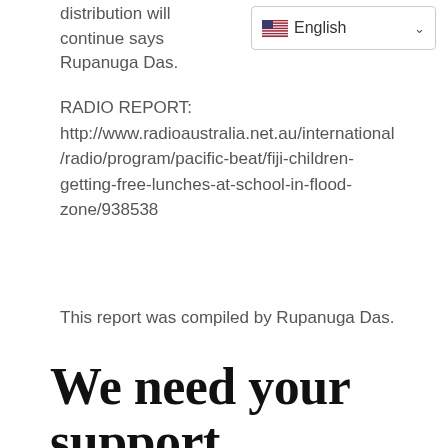distribution will continue says Rupanuga Das.
[Figure (other): Language selector dropdown showing English with US flag and dropdown arrow]
RADIO REPORT: http://www.radioaustralia.net.au/international/radio/program/pacific-beat/fiji-children-getting-free-lunches-at-school-in-flood-zone/938538
This report was compiled by Rupanuga Das.
We need your support
Kindly support Food for Life events.